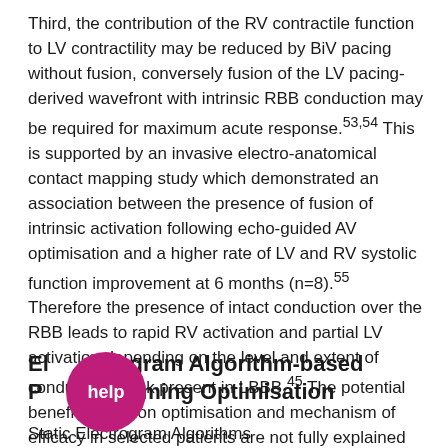Third, the contribution of the RV contractile function to LV contractility may be reduced by BiV pacing without fusion, conversely fusion of the LV pacing-derived wavefront with intrinsic RBB conduction may be required for maximum acute response.53,54 This is supported by an invasive electro-anatomical contact mapping study which demonstrated an association between the presence of fusion of intrinsic activation following echo-guided AV optimisation and a higher rate of LV and RV systolic function improvement at 6 months (n=8).55 Therefore the presence of intact conduction over the RBB leads to rapid RV activation and partial LV activation depending on the level and extent of conduction block present in LBBB.45 The potential benefits of fusion optimisation and mechanism of efficacy in selected patients are not fully explained and therefore require further study.
Electrogram Algorithm-based Programming Optimisation
Static Electrogram Algorithms